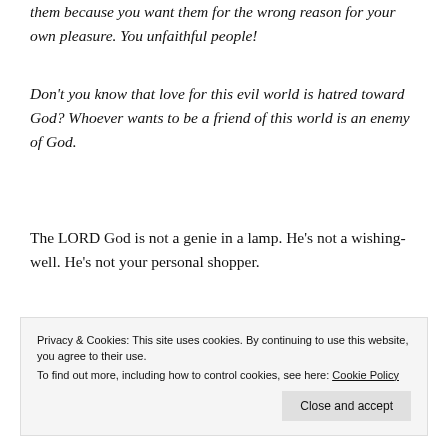them because you want them for the wrong reason for your own pleasure. You unfaithful people!
Don't you know that love for this evil world is hatred toward God? Whoever wants to be a friend of this world is an enemy of God.
The LORD God is not a genie in a lamp. He's not a wishing-well. He's not your personal shopper.
[Figure (screenshot): Advertisement banner showing the word 'stories.' in white text on a blue-to-green gradient background, with a figure wearing a yellow jacket on the right side.]
Privacy & Cookies: This site uses cookies. By continuing to use this website, you agree to their use. To find out more, including how to control cookies, see here: Cookie Policy
Close and accept